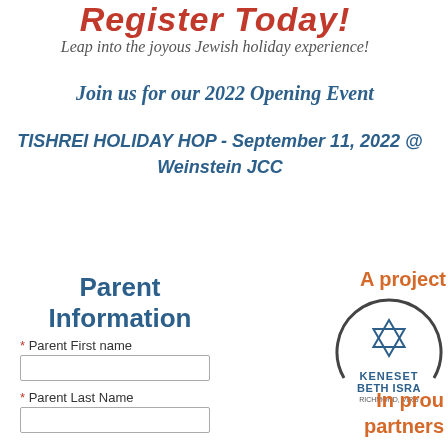Register Today!
Leap into the joyous Jewish holiday experience!
Join us for our 2022 Opening Event
TISHREI HOLIDAY HOP - September 11, 2022 @ Weinstein JCC
Parent Information
* Parent First name
* Parent Last Name
A project
[Figure (logo): Keneset Beth Israel synagogue logo with Star of David, Richmond, Virginia]
In proud
partners